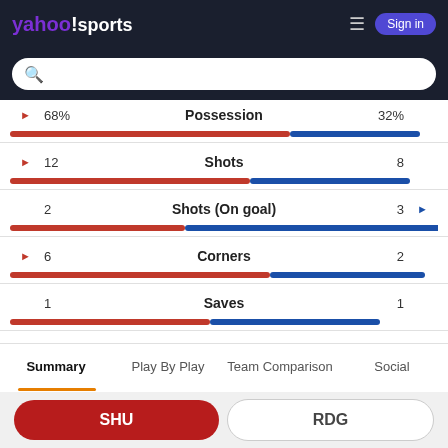yahoo sports header with search bar
| Left | Stat | Right |
| --- | --- | --- |
| 68% | Possession | 32% |
| 12 | Shots | 8 |
| 2 | Shots (On goal) | 3 |
| 6 | Corners | 2 |
| 1 | Saves | 1 |
| 15 | Fouls | 11 |
Summary  Play By Play  Team Comparison  Social
SHU  RDG